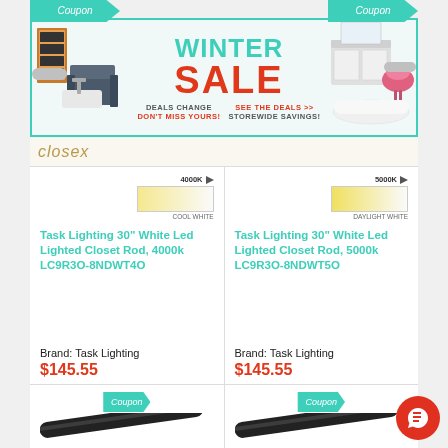[Figure (infographic): Winter Sale promotional banner with furniture images, teal and red text reading WINTER SALE, DEALS CHANGE DON'T MISS YOURS!, SEE THE DEALS >> STOREWIDE SAVINGS!]
[Figure (logo): closex logo in gold/tan italic text]
[Figure (other): 4000K Cool White color swatch gradient]
Task Lighting 30" White Led Lighted Closet Rod, 4000k LC9R3O-8NDWT4O
Brand: Task Lighting
$145.55
[Figure (other): 5000K Daylight White color swatch gradient]
Task Lighting 30" White Led Lighted Closet Rod, 5000k LC9R3O-8NDWT5O
Brand: Task Lighting
$145.55
[Figure (other): Coupon badge teal left cell bottom]
[Figure (other): Closet rod product image diagonal black rod bottom left]
[Figure (other): Coupon badge teal right cell bottom]
[Figure (other): Closet rod product image diagonal black rod bottom right]